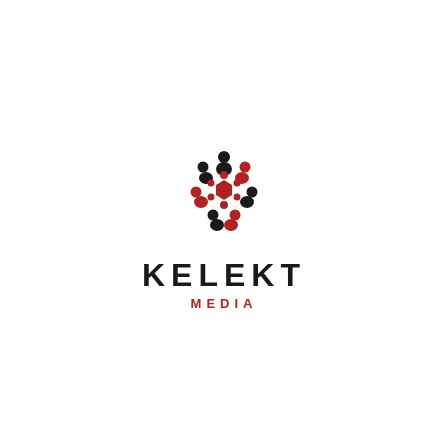[Figure (logo): Kelekt Media logo: circular arrangement of stylized human figures in black and red, forming a connected group/network motif, above the text KELEKT MEDIA]